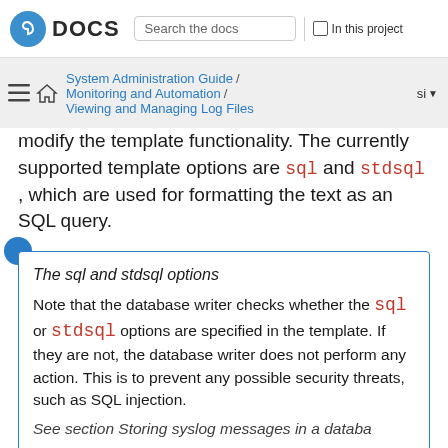Fedora DOCS | Search the docs | In this project
System Administration Guide / Monitoring and Automation / Viewing and Managing Log Files | si
modify the template functionality. The currently supported template options are sql and stdsql , which are used for formatting the text as an SQL query.
The sql and stdsql options
Note that the database writer checks whether the sql or stdsql options are specified in the template. If they are not, the database writer does not perform any action. This is to prevent any possible security threats, such as SQL injection.
See section Storing syslog messages in a database